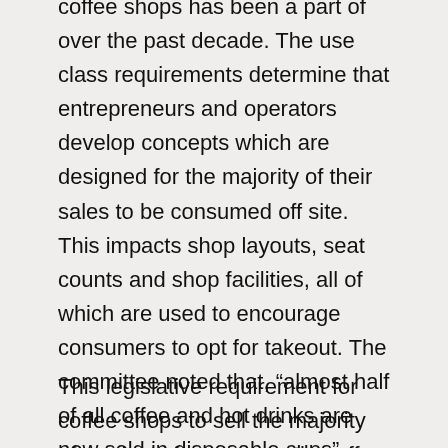coffee shops has been a part of over the past decade. The use class requirements determine that entrepreneurs and operators develop concepts which are designed for the majority of their sales to be consumed off site. This impacts shop layouts, seat counts and shop facilities, all of which are used to encourage consumers to opt for takeout. The committee noted that, “almost half of all coffee and hot drinks are now sold in disposable cups” (Environmental Audit Committee, 2017, p.3). For most coffee shop operators to be compliant with planning law, it should be over half.
This legislative requirement for coffee shops to sell the majority of products for consumption off site is clearly in tension with the UK’s current